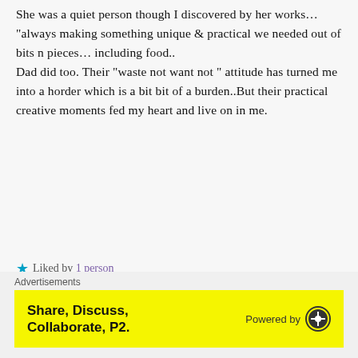She was a quiet person though I discovered by her works… "always making something unique & practical we needed out of bits n pieces… including food..
Dad did too. Their "waste not want not " attitude has turned me into a horder which is a bit bit of a burden..But their practical creative moments fed my heart and live on in me.
Liked by 1 person
Reply
[Figure (illustration): Avatar icon for commenter Liz — a geometric blue and white diamond pattern quilt-like symbol]
Liz
december 8, 2019 at 11:16 pm
Advertisements
[Figure (other): Advertisement banner with yellow background reading 'Share, Discuss, Collaborate, P2.' with 'Powered by WordPress' logo on right]